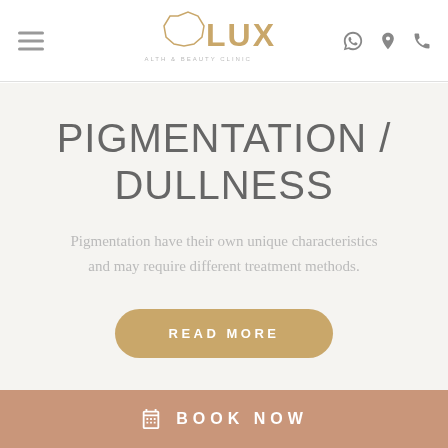[Figure (logo): LUX brand logo in gold with decorative geometric circle outline, with tagline text below]
PIGMENTATION / DULLNESS
Pigmentation have their own unique characteristics and may require different treatment methods.
READ MORE
BOOK NOW